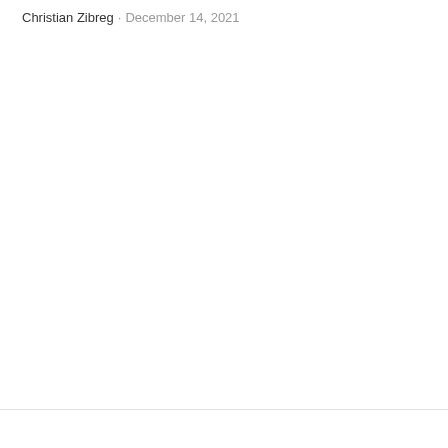Christian Zibreg · December 14, 2021